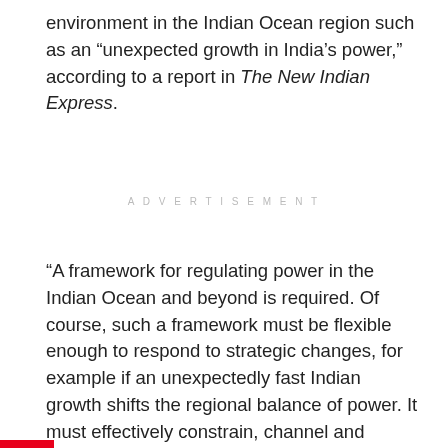environment in the Indian Ocean region such as an “unexpected growth in India’s power,” according to a report in The New Indian Express.
ADVERTISEMENT
“A framework for regulating power in the Indian Ocean and beyond is required. Of course, such a framework must be flexible enough to respond to strategic changes, for example if an unexpectedly fast Indian growth shifts the regional balance of power. It must effectively constrain, channel and process the exercise of power,” Samaraweera said addressing the South Asia Diaspora conference panel on Geo-politics in South Asia held in Singapore on July 18.